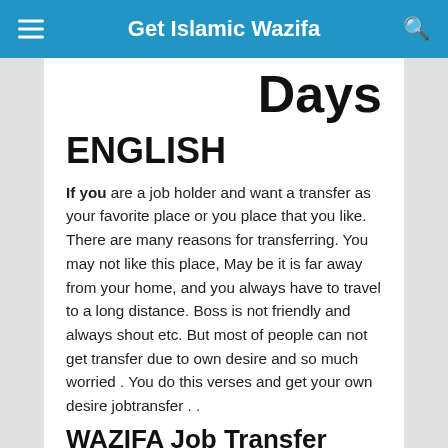Get Islamic Wazifa
Days
ENGLISH
If you are a job holder and want a transfer as your favorite place or you place that you like. There are many reasons for transferring. You may not like this place, May be it is far away from your home, and you always have to travel to a long distance. Boss is not friendly and always shout etc. But most of people can not get transfer due to own desire and so much worried . You do this verses and get your own desire jobtransfer . .
WAZIFA Job Transfer
After esha RECITE 40 TIMES AYTAL KURSI with 11